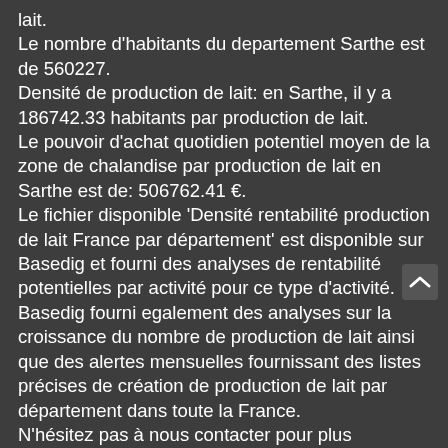lait. Le nombre d'habitants du departement Sarthe est de 560227. Densité de production de lait: en Sarthe, il y a 186742.33 habitants par production de lait. Le pouvoir d'achat quotidien potentiel moyen de la zone de chalandise par production de lait en Sarthe est de: 506762.41 €. Le fichier disponible 'Densité rentabilité production de lait France par département' est disponible sur Basedig et fourni des analyses de rentabilité potentielles par activité pour ce type d'activité. Basedig fourni egalement des analyses sur la croissance du nombre de production de lait ainsi que des alertes mensuelles fournissant des listes précises de création de production de lait par département dans toute la France. N'hésitez pas à nous contacter pour plus d'informations.